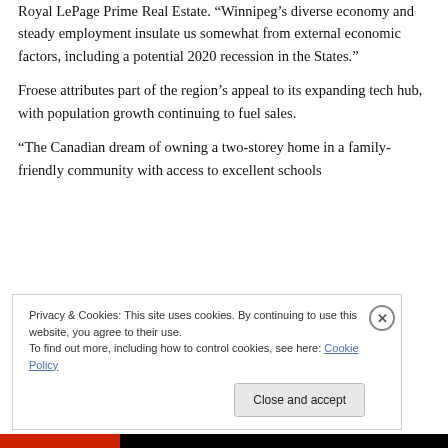Royal LePage Prime Real Estate. “Winnipeg’s diverse economy and steady employment insulate us somewhat from external economic factors, including a potential 2020 recession in the States.”
Froese attributes part of the region’s appeal to its expanding tech hub, with population growth continuing to fuel sales.
“The Canadian dream of owning a two-storey home in a family-friendly community with access to excellent schools
Privacy & Cookies: This site uses cookies. By continuing to use this website, you agree to their use.
To find out more, including how to control cookies, see here: Cookie Policy